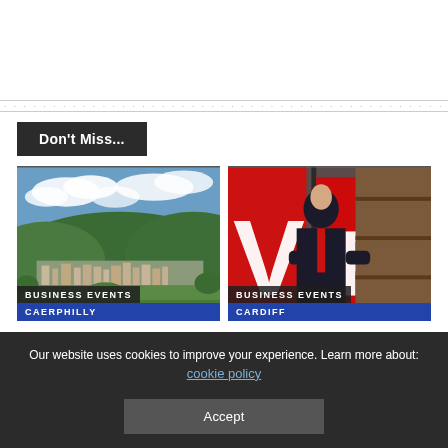Don't Miss...
[Figure (photo): Aerial landscape view of Caerphilly town with hills and clouds in background, overlaid with BUSINESS EVENTS CAERPHILLY labels]
[Figure (photo): Man in suit with arms crossed standing in front of large red and white letters VR background, overlaid with BUSINESS EVENTS CARDIFF labels]
Our website uses cookies to improve your experience. Learn more about: cookie policy
Accept